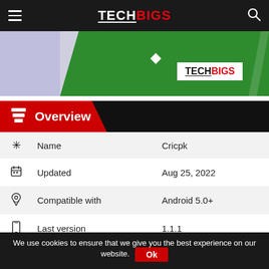TECHBIGS
[Figure (screenshot): TechBigs banner with green background and TechBigs logo]
Overview
| Icon | Field | Value |
| --- | --- | --- |
| * | Name | Cricpk |
| calendar | Updated | Aug 25, 2022 |
| android | Compatible with | Android 5.0+ |
| phone | Last version | 1.1.1 |
| document | Size | 5 MB |
| circle | MOD | No ads |
We use cookies to ensure that we give you the best experience on our website. Ok